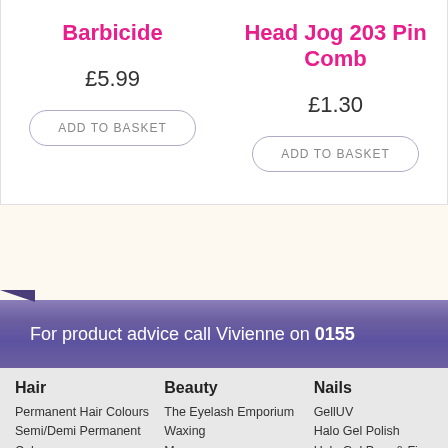Barbicide
Head Jog 203 Pin Comb
£5.99
£1.30
ADD TO BASKET
ADD TO BASKET
For product advice call Vivienne on 0155...
Hair
Permanent Hair Colours
Semi/Demi Permanent
Colour
Beauty
The Eyelash Emporium
Waxing
Massage
Nails
GellUV
Halo Gel Polish
Halo Gel Prep & Fi...